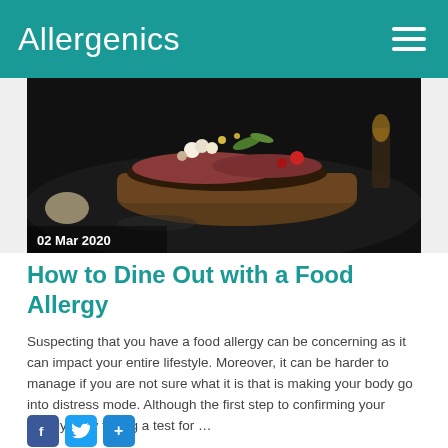Allergenics
[Figure (photo): Dark overhead photo of a gourmet open-faced sandwich with various toppings including eggs, meats, and garnishes on a dark plate, with a date overlay '02 Mar 2020']
How to Dine Out with a Food Allergy
Suspecting that you have a food allergy can be concerning as it can impact your entire lifestyle. Moreover, it can be harder to manage if you are not sure what it is that is making your body go into distress mode. Although the first step to confirming your allergy is by taking a test for ...